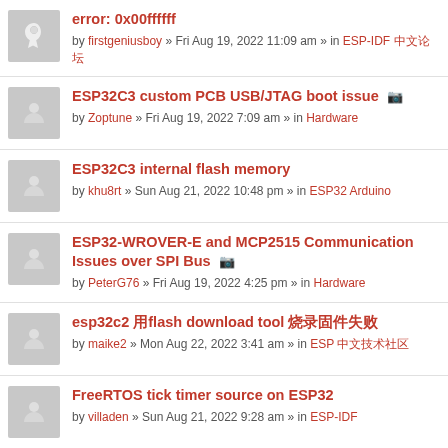error: 0x00ffffff by firstgeniusboy » Fri Aug 19, 2022 11:09 am » in ESP-IDF 中文论坛
ESP32C3 custom PCB USB/JTAG boot issue by Zoptune » Fri Aug 19, 2022 7:09 am » in Hardware
ESP32C3 internal flash memory by khu8rt » Sun Aug 21, 2022 10:48 pm » in ESP32 Arduino
ESP32-WROVER-E and MCP2515 Communication Issues over SPI Bus by PeterG76 » Fri Aug 19, 2022 4:25 pm » in Hardware
esp32c2 用flash download tool 烧录固件失败 by maike2 » Mon Aug 22, 2022 3:41 am » in ESP 中文技术社区
FreeRTOS tick timer source on ESP32 by villaden » Sun Aug 21, 2022 9:28 am » in ESP-IDF